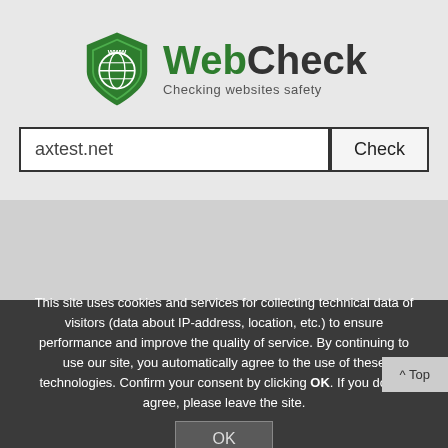[Figure (logo): WebCheck logo: green shield with 'www' text and globe icon, next to bold 'WebCheck' brand name with tagline 'Checking websites safety']
axtest.net
Check
This site uses cookies and services for collecting technical data of visitors (data about IP-address, location, etc.) to ensure performance and improve the quality of service. By continuing to use our site, you automatically agree to the use of these technologies. Confirm your consent by clicking OK. If you do not agree, please leave the site.
OK
^ Top